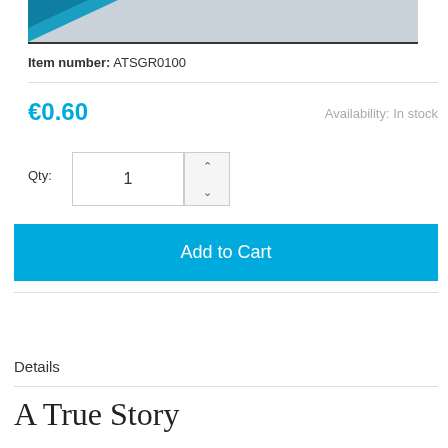[Figure (photo): Product image with blue and gray gradient background, partial view of a book or product cover]
Item number: ATSGR0100
€0.60
Availability: In stock
Qty: 1
Add to Cart
Details
A True Story